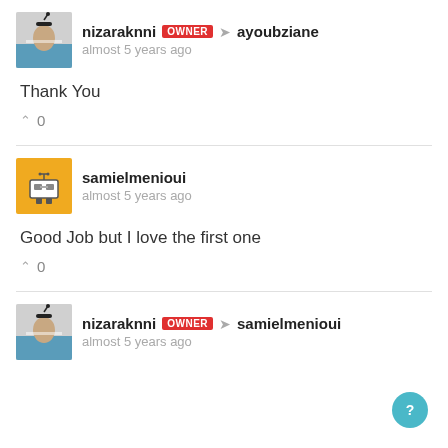nizaraknni OWNER → ayoubziane
almost 5 years ago
Thank You
↑ 0
samielmenioui
almost 5 years ago
Good Job but I love the first one
↑ 0
nizaraknni OWNER → samielmenioui
almost 5 years ago